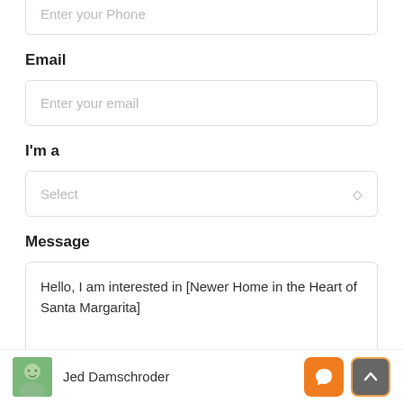Enter your Phone
Email
Enter your email
I'm a
Select
Message
Hello, I am interested in [Newer Home in the Heart of Santa Margarita]
Jed Damschroder